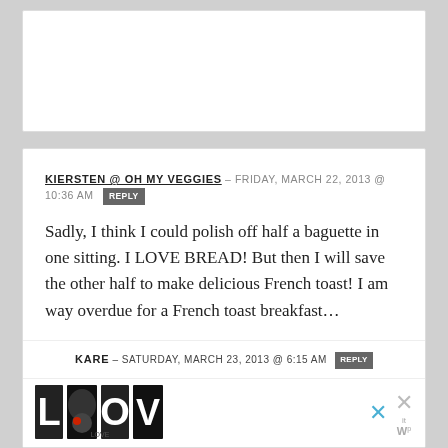KIERSTEN @ OH MY VEGGIES – FRIDAY, MARCH 22, 2013 @ 10:36 AM  REPLY
Sadly, I think I could polish off half a baguette in one sitting. I LOVE BREAD! But then I will save the other half to make delicious French toast! I am way overdue for a French toast breakfast…
KARE – SATURDAY, MARCH 23, 2013 @ 6:15 AM  REPLY
[Figure (illustration): LOVE lettering artwork illustration in black and white with decorative patterns, advertisement banner]